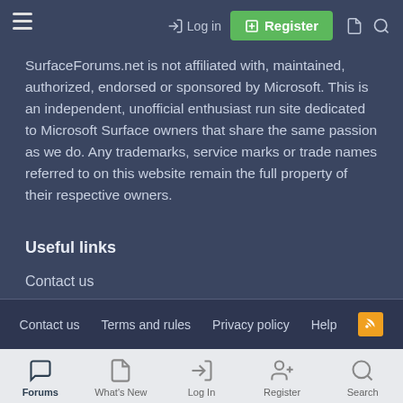Log in | Register
SurfaceForums.net is not affiliated with, maintained, authorized, endorsed or sponsored by Microsoft. This is an independent, unofficial enthusiast run site dedicated to Microsoft Surface owners that share the same passion as we do. Any trademarks, service marks or trade names referred to on this website remain the full property of their respective owners.
Useful links
Contact us
Active Topics
Terms and Conditions
Contact us   Terms and rules   Privacy policy   Help
Forums   What's New   Log In   Register   Search